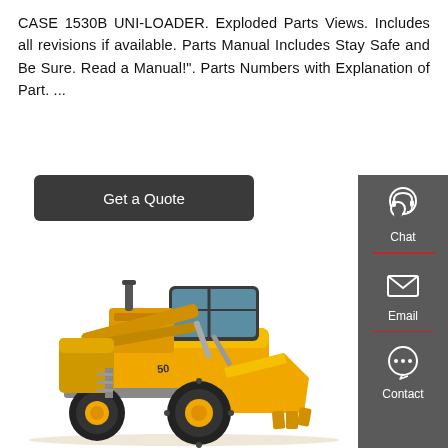CASE 1530B UNI-LOADER. Exploded Parts Views. Includes all revisions if available. Parts Manual Includes Stay Safe and Be Sure. Read a Manual!". Parts Numbers with Explanation of Part. ...
[Figure (screenshot): Dark rounded rectangle button labeled 'Get a Quote']
[Figure (other): Right-side vertical sidebar with dark grey background containing Chat (headset icon), Email (envelope icon), and Contact (speech bubble icon) options separated by red dividers]
[Figure (photo): Yellow wheel loader / front-end loader (similar to Case or SDLG branding) photographed on white background, facing left, with large front bucket and four large black tires]